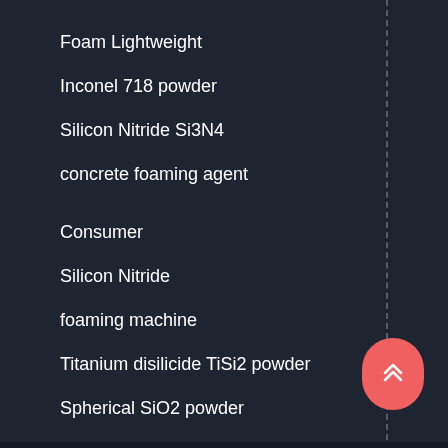Foam Lightweight
Inconel 718 powder
Silicon Nitride Si3N4
concrete foaming agent
Consumer
Silicon Nitride
foaming machine
Titanium disilicide TiSi2 powder
Spherical SiO2 powder
Lignosulfonate
concrete water reducer